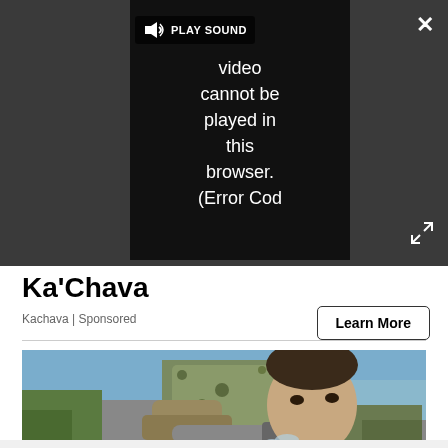[Figure (screenshot): Video player showing error message: 'Video cannot be played in this browser. (Error Cod' with PLAY SOUND button and close/expand controls on dark background]
Ka'Chava
Kachava | Sponsored
Learn More
[Figure (photo): Military personnel drinking from a hose, wearing camouflage gear, outdoor setting near water]
[Figure (photo): 1-800-Flowers advertisement showing plant shop promotion: Now in the Plant Shop - Fresh picks for summer, with plant image and SEE WHAT'S NEW button]